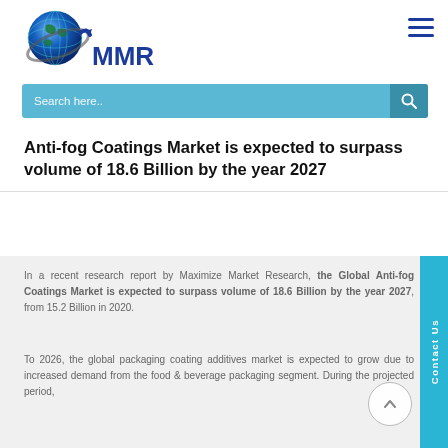[Figure (logo): MMR (Maximize Market Research) logo with blue globe and blue MMR text]
Anti-fog Coatings Market is expected to surpass volume of 18.6 Billion by the year 2027
In a recent research report by Maximize Market Research, the Global Anti-fog Coatings Market is expected to surpass volume of 18.6 Billion by the year 2027, from 15.2 Billion in 2020.
To 2026, the global packaging coating additives market is expected to grow due to increased demand from the food & beverage packaging segment. During the projected period,